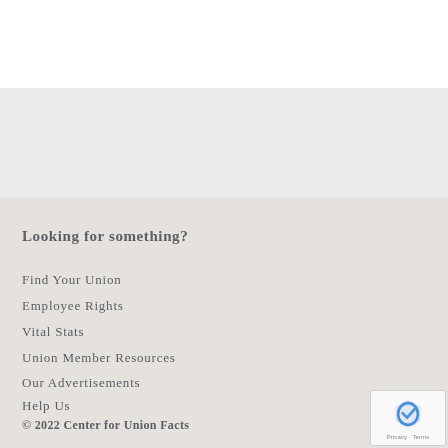Looking for something?
Find Your Union
Employee Rights
Vital Stats
Union Member Resources
Our Advertisements
Help Us
About CUF
Privacy Policy
© 2022 Center for Union Facts